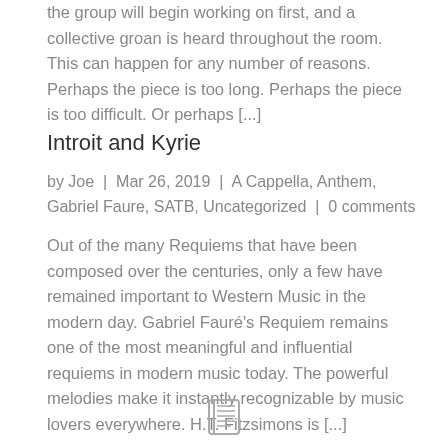the group will begin working on first, and a collective groan is heard throughout the room. This can happen for any number of reasons. Perhaps the piece is too long. Perhaps the piece is too difficult. Or perhaps [...]
Introit and Kyrie
by Joe | Mar 26, 2019 | A Cappella, Anthem, Gabriel Faure, SATB, Uncategorized | 0 comments
Out of the many Requiems that have been composed over the centuries, only a few have remained important to Western Music in the modern day. Gabriel Fauré's Requiem remains one of the most meaningful and influential requiems in modern music today. The powerful melodies make it instantly recognizable by music lovers everywhere. H.T. Fitzsimons is [...]
[Figure (logo): Small book/logo icon at the bottom center of the page]